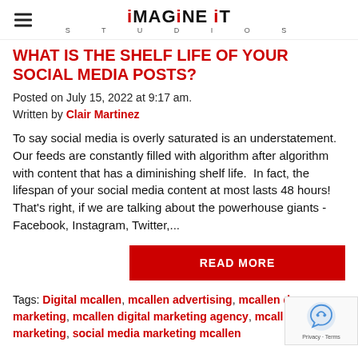iMAGINE iT STUDIOS
WHAT IS THE SHELF LIFE OF YOUR SOCIAL MEDIA POSTS?
Posted on July 15, 2022 at 9:17 am.
Written by Clair Martinez
To say social media is overly saturated is an understatement. Our feeds are constantly filled with algorithm after algorithm with content that has a diminishing shelf life.  In fact, the lifespan of your social media content at most lasts 48 hours! That's right, if we are talking about the powerhouse giants - Facebook, Instagram, Twitter,...
READ MORE
Tags: Digital mcallen, mcallen advertising, mcallen digital marketing, mcallen digital marketing agency, mcallen marketing, social media marketing mcallen